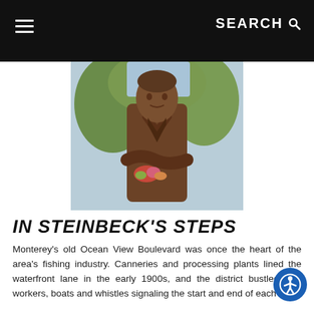SEARCH
[Figure (photo): Bronze statue of John Steinbeck with arms crossed, holding flowers, with trees in background]
IN STEINBECK'S STEPS
Monterey's old Ocean View Boulevard was once the heart of the area's fishing industry. Canneries and processing plants lined the waterfront lane in the early 1900s, and the district bustled with workers, boats and whistles signaling the start and end of each shift.